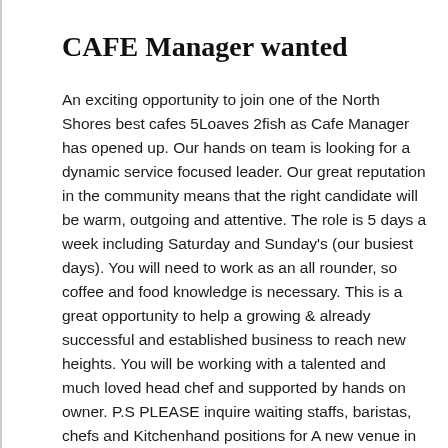CAFE Manager wanted
An exciting opportunity to join one of the North Shores best cafes 5Loaves 2fish as Cafe Manager has opened up. Our hands on team is looking for a dynamic service focused leader. Our great reputation in the community means that the right candidate will be warm, outgoing and attentive. The role is 5 days a week including Saturday and Sunday's (our busiest days). You will need to work as an all rounder, so coffee and food knowledge is necessary. This is a great opportunity to help a growing & already successful and established business to reach new heights. You will be working with a talented and much loved head chef and supported by hands on owner. P.S PLEASE inquire waiting staffs, baristas, chefs and Kitchenhand positions for A new venue in Mosman. Once we